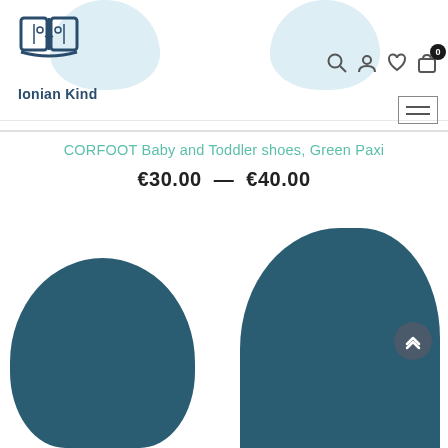[Figure (logo): Ionian Kind logo: open book icon in dark blue above the text 'Ionian Kind']
[Figure (screenshot): Website navigation header with search, account, wishlist, and cart icons. Cart shows badge with '0'.]
CORFOOT Baby and Toddler shoes, Green Paxi
€30.00 — €40.00
[Figure (photo): Two dark teal/green baby booties photographed from above on white background]